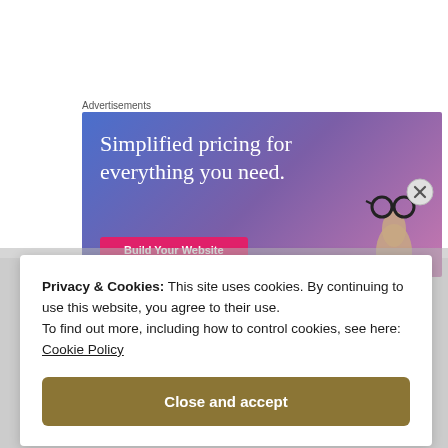Advertisements
[Figure (illustration): Advertisement banner with gradient blue-purple background showing text 'Simplified pricing for everything you need.' with a pink 'Build Your Website' button and a hand holding glasses on the right side.]
Privacy & Cookies: This site uses cookies. By continuing to use this website, you agree to their use.
To find out more, including how to control cookies, see here: Cookie Policy
Close and accept